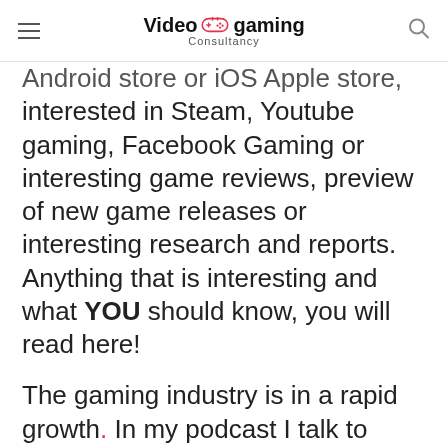Video gaming Consultancy
Android store or iOS Apple store, interested in Steam, Youtube gaming, Facebook Gaming or interesting game reviews, preview of new game releases or interesting research and reports. Anything that is interesting and what YOU should know, you will read here!
The gaming industry is in a rapid growth. In my podcast I talk to people about their experiences. How is it to run a game studio, what kind of trends are they